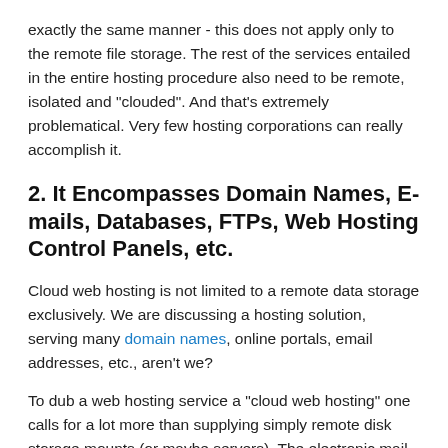exactly the same manner - this does not apply only to the remote file storage. The rest of the services entailed in the entire hosting procedure also need to be remote, isolated and "clouded". And that's extremely problematical. Very few hosting corporations can really accomplish it.
2. It Encompasses Domain Names, E-mails, Databases, FTPs, Web Hosting Control Panels, etc.
Cloud web hosting is not limited to a remote data storage exclusively. We are discussing a hosting solution, serving many domain names, online portals, email addresses, etc., aren't we?
To dub a web hosting service a "cloud web hosting" one calls for a lot more than supplying simply remote disk storage mounts (or maybe servers). The electronic mail server(s) have to be dedicated exclusively to the electronic mail associated services. Performing nothing different than these concrete assignments. There might be just one or possibly a whole stack of email servers, depending on